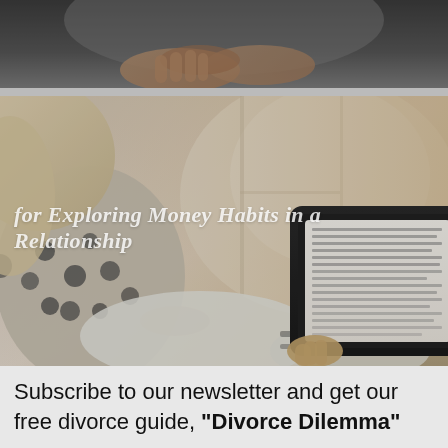[Figure (photo): Partial photo at top showing hands, dark background, cropped]
[Figure (photo): Woman reading on an e-reader/tablet, seated in a relaxed position, with text overlay reading 'for Exploring Money Habits in a Relationship']
Subscribe to our newsletter and get our free divorce guide, "Divorce Dilemma"